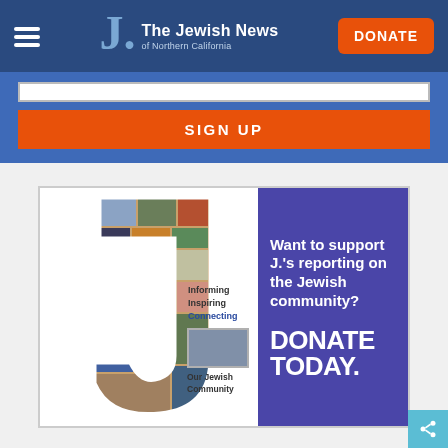The Jewish News of Northern California
SIGN UP
[Figure (infographic): Advertisement for J. The Jewish News of Northern California showing a J-shaped photo collage on the left with text 'Informing Inspiring Connecting - Our Jewish Community', and a purple right panel reading 'Want to support J.'s reporting on the Jewish community? DONATE TODAY.']
DONATE